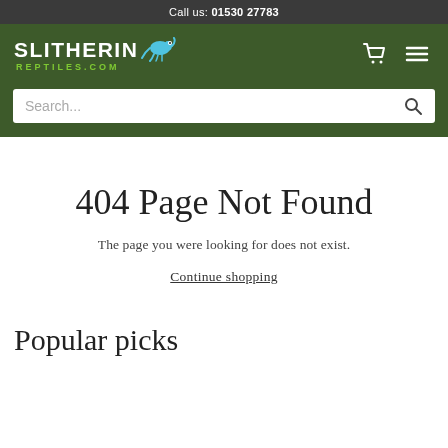Call us: 01530 27783
[Figure (logo): Slitherin Reptiles.com logo with chameleon graphic, white text on dark green background]
Search...
404 Page Not Found
The page you were looking for does not exist.
Continue shopping
Popular picks